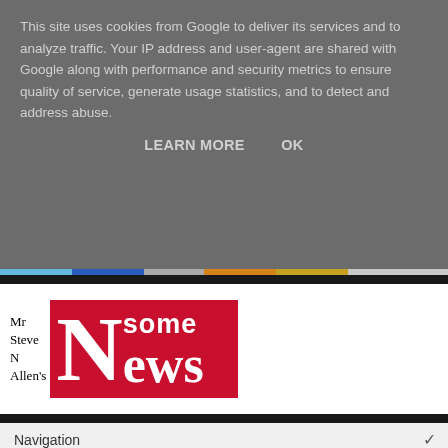This site uses cookies from Google to deliver its services and to analyze traffic. Your IP address and user-agent are shared with Google along with performance and security metrics to ensure quality of service, generate usage statistics, and to detect and address abuse.
LEARN MORE   OK
[Figure (logo): SomeNews website logo with handwritten annotation 'Mr Steve N Allen's' and a red box containing a large N with 'some News' text]
Navigation
Boris The Bus Man
6/29/2019 03:10:00 pm   SomeNews
They say, "A man needs a hobby." I